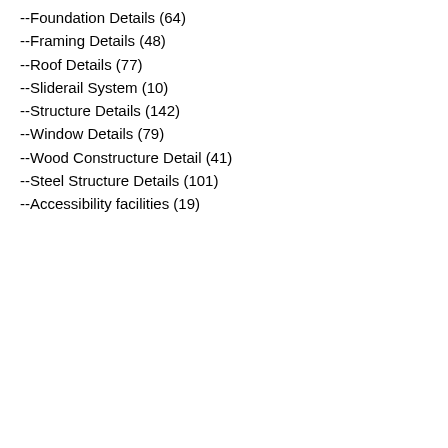--Foundation Details (64)
--Framing Details (48)
--Roof Details (77)
--Sliderail System (10)
--Structure Details (142)
--Window Details (79)
--Wood Constructure Detail (41)
--Steel Structure Details (101)
--Accessibility facilities (19)